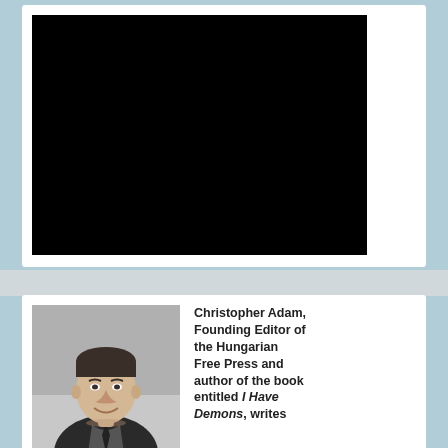[Figure (photo): Black rectangle representing a redacted or video image placeholder]
[Figure (photo): Black and white portrait photo of Christopher Adam, a young man in a suit smiling]
Christopher Adam, Founding Editor of the Hungarian Free Press and author of the book entitled I Have Demons, writes